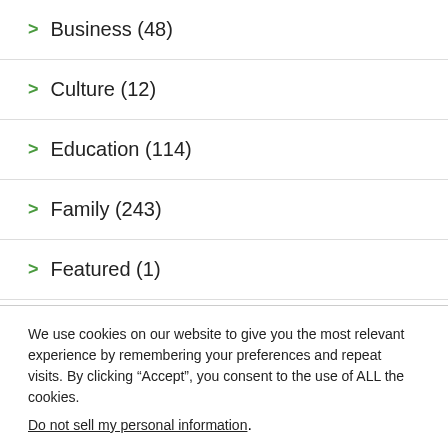> Business (48)
> Culture (12)
> Education (114)
> Family (243)
> Featured (1)
We use cookies on our website to give you the most relevant experience by remembering your preferences and repeat visits. By clicking “Accept”, you consent to the use of ALL the cookies. Do not sell my personal information.